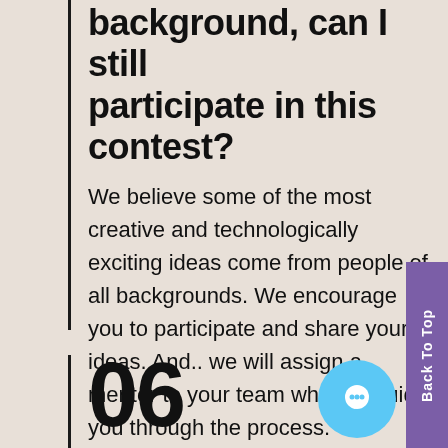background, can I still participate in this contest?
We believe some of the most creative and technologically exciting ideas come from people of all backgrounds. We encourage you to participate and share your ideas. And.. we will assign a mentor to your team who will guide you through the process.
06